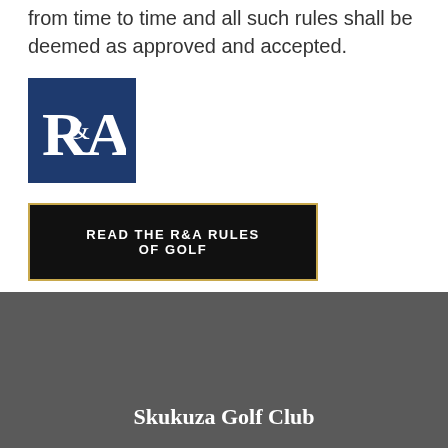from time to time and all such rules shall be deemed as approved and accepted.
[Figure (logo): R&A logo — white serif R&A lettering on a dark navy blue square background]
READ THE R&A RULES OF GOLF
Skukuza Golf Club